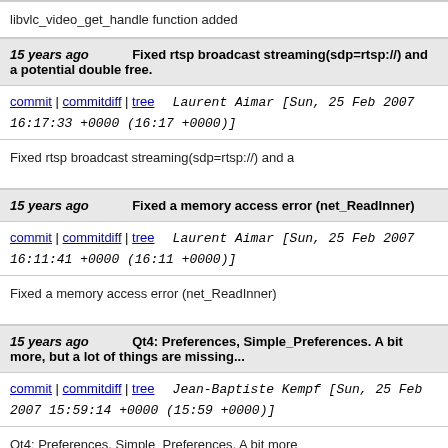libvlc_video_get_handle function added
15 years ago   Fixed rtsp broadcast streaming(sdp=rtsp://) and a potential double free.
commit | commitdiff | tree   Laurent Aimar [Sun, 25 Feb 2007 16:17:33 +0000 (16:17 +0000)]
Fixed rtsp broadcast streaming(sdp=rtsp://) and a
15 years ago   Fixed a memory access error (net_ReadInner)
commit | commitdiff | tree   Laurent Aimar [Sun, 25 Feb 2007 16:11:41 +0000 (16:11 +0000)]
Fixed a memory access error (net_ReadInner)
15 years ago   Qt4: Preferences, Simple_Preferences. A bit more, but a lot of things are missing...
commit | commitdiff | tree   Jean-Baptiste Kempf [Sun, 25 Feb 2007 15:59:14 +0000 (15:59 +0000)]
Qt4: Preferences, Simple_Preferences. A bit more
15 years ago   Fixed double input_thread_t free for VOD